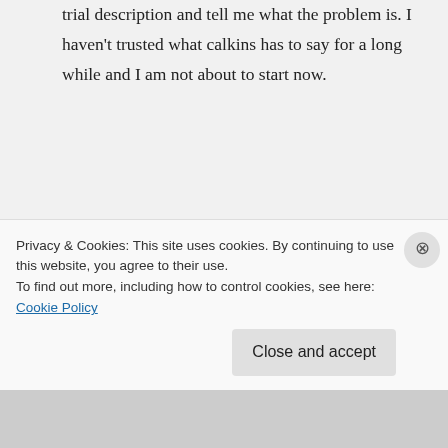trial description and tell me what the problem is. I haven't trusted what calkins has to say for a long while and I am not about to start now.
↳ Reply
danwalter on March 8, 2010 at 3:32 pm
The problem is that it's not only
Privacy & Cookies: This site uses cookies. By continuing to use this website, you agree to their use.
To find out more, including how to control cookies, see here: Cookie Policy
Close and accept